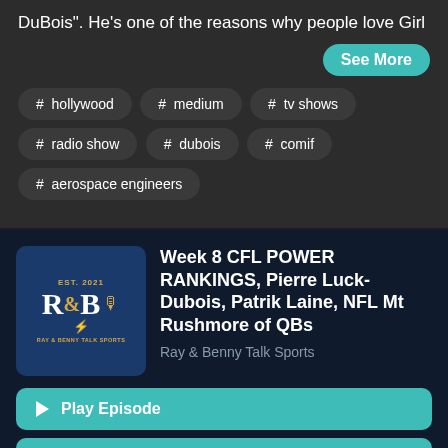DuBois". He's one of the reasons why people love Girl
See More
# hollywood
# medium
# tv shows
# radio show
# dubois
# comif
# aerospace engineers
[Figure (logo): Ray & Benny Talk Sports podcast logo, EST. 2021, blue background with gold R&B lettering and microphone graphic]
Week 8 CFL POWER RANKINGS, Pierre Luck-Dubois, Patrik Laine, NFL Mt Rushmore of QBs
Ray & Benny Talk Sports
Play Episode
Listen Later